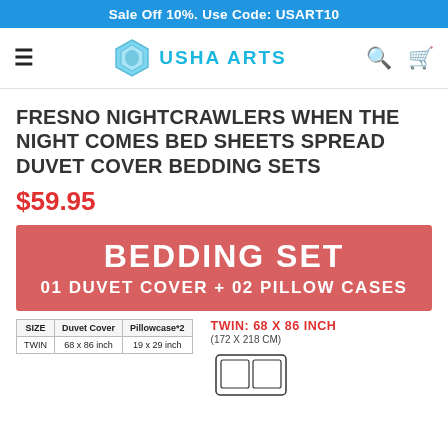Sale Off 10%. Use Code: USART10
[Figure (logo): Usha Arts logo with hexagon icon and teal text]
FRESNO NIGHTCRAWLERS WHEN THE NIGHT COMES BED SHEETS SPREAD DUVET COVER BEDDING SETS
$59.95
[Figure (infographic): Salmon/red banner reading BEDDING SET - 01 DUVET COVER + 02 PILLOW CASES]
| SIZE | Duvet Cover | Pillowcase*2 |
| --- | --- | --- |
| TWIN | 68 x 86 inch | 19 x 29 inch |
TWIN: 68 X 86 INCH
(172 X 218 CM)